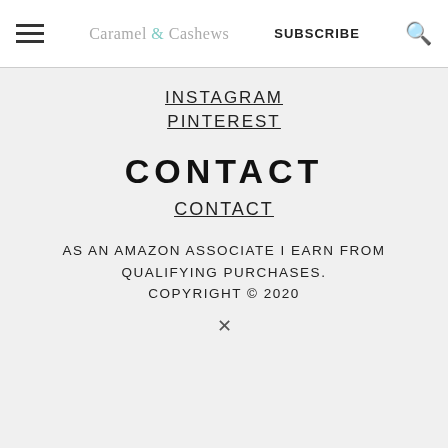Caramel & Cashews  SUBSCRIBE
INSTAGRAM
PINTEREST
CONTACT
CONTACT
AS AN AMAZON ASSOCIATE I EARN FROM QUALIFYING PURCHASES. COPYRIGHT © 2020